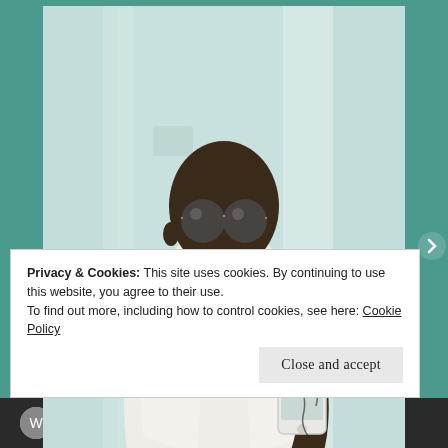[Figure (photo): A bald Black man wearing a white tuxedo jacket with a black bow tie and red rose boutonniere takes a mirror selfie with a white iPhone. He has round reflective sunglasses and visible tattoos on his arm. The background shows a light teal/mint colored wall with vertical mirror panels.]
Privacy & Cookies: This site uses cookies. By continuing to use this website, you agree to their use.
To find out more, including how to control cookies, see here: Cookie Policy
Close and accept
course with WordPress